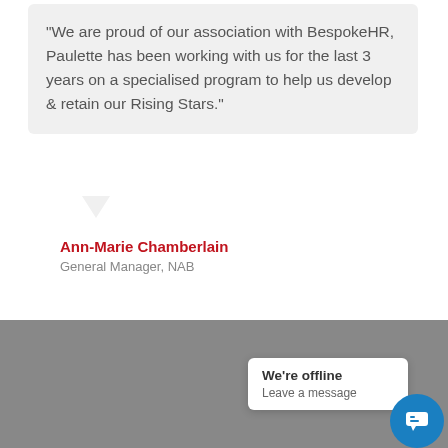"We are proud of our association with BespokeHR, Paulette has been working with us for the last 3 years on a specialised program to help us develop & retain our Rising Stars."
Ann-Marie Chamberlain
General Manager, NAB
[Figure (screenshot): BespokeHR website footer with logo watermark and body text about BespokeHR maximising and partnering with you to provide an end to end Human...]
We're offline
Leave a message